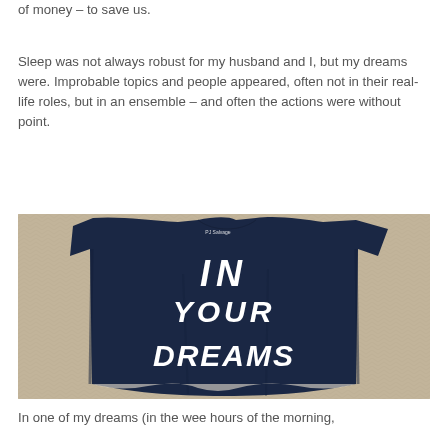of money – to save us.
Sleep was not always robust for my husband and I, but my dreams were. Improbable topics and people appeared, often not in their real-life roles, but in an ensemble – and often the actions were without point.
[Figure (photo): A dark navy blue t-shirt laid flat on a beige/tan textured surface. The shirt has white hand-painted style lettering reading 'IN YOUR DREAMS' and a small brand label 'PJ Salvage' near the collar.]
In one of my dreams (in the wee hours of the morning,